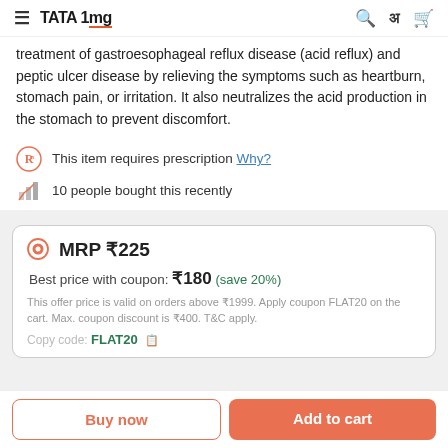TATA 1mg
treatment of gastroesophageal reflux disease (acid reflux) and peptic ulcer disease by relieving the symptoms such as heartburn, stomach pain, or irritation. It also neutralizes the acid production in the stomach to prevent discomfort.
This item requires prescription Why?
10 people bought this recently
MRP ₹225
Best price with coupon: ₹180 (save 20%)
This offer price is valid on orders above ₹1999. Apply coupon FLAT20 on the cart. Max. coupon discount is ₹400. T&C apply.
Copy code: FLAT20